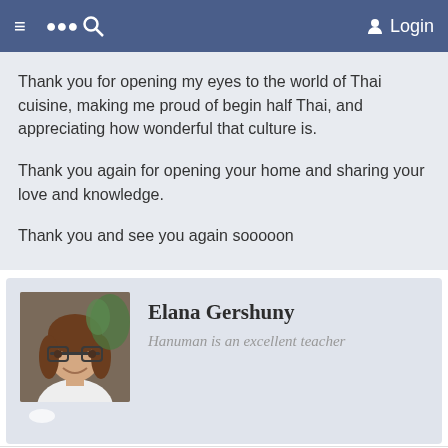≡  🔍  Login
Thank you for opening my eyes to the world of Thai cuisine, making me proud of begin half Thai, and appreciating how wonderful that culture is.

Thank you again for opening your home and sharing your love and knowledge.

Thank you and see you again sooooon
Elana Gershuny
Hanuman is an excellent teacher
I've been living in Thailand for several years, and one